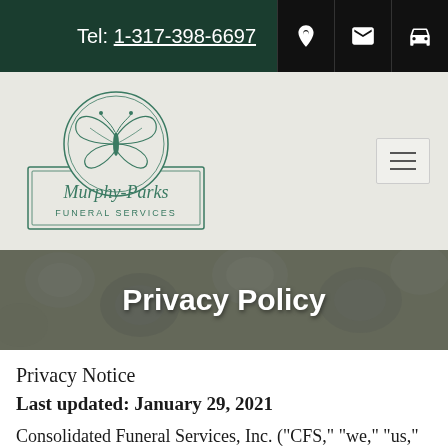Tel: 1-317-398-6697
[Figure (logo): Murphy-Parks Funeral Services logo with butterfly in circular frame]
Privacy Policy
Privacy Notice
Last updated: January 29, 2021
Consolidated Funeral Services, Inc. ("CFS," "we," "us," "our") is committed to protecting your personal